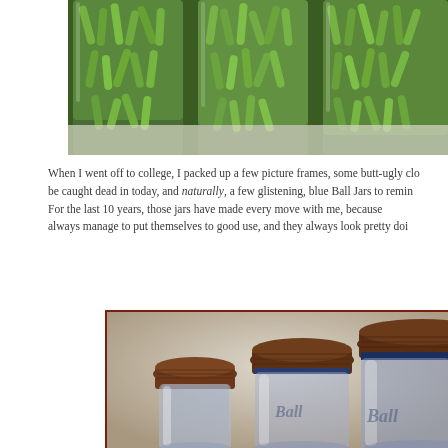[Figure (photo): Close-up photograph of green beans packed tightly inside glass mason jars, viewed from above at an angle. Multiple jars visible filled with fresh green beans.]
When I went off to college, I packed up a few picture frames, some butt-ugly clo be caught dead in today, and naturally, a few glistening, blue Ball Jars to remin For the last 10 years, those jars have made every move with me, because always manage to put themselves to good use, and they always look pretty doi
[Figure (photo): Photograph of three vintage blue Ball mason jars with rusty/brown metal lids, arranged from small to large, against a light background. The jars are empty and show the embossed Ball logo text.]